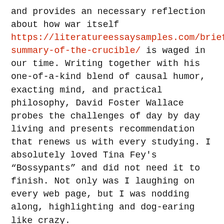and provides an necessary reflection about how war itself https://literatureessaysamples.com/brief-summary-of-the-crucible/ is waged in our time. Writing together with his one-of-a-kind blend of causal humor, exacting mind, and practical philosophy, David Foster Wallace probes the challenges of day by day living and presents recommendation that renews us with every studying. I absolutely loved Tina Fey's “Bossypants” and did not need it to finish. Not only was I laughing on every web page, but I was nodding along, highlighting and dog-earing like crazy.
As the essay transitions from the personal to the common, her expertise portray the vase turns into a metaphor for a way she sees the world. Not solely has https://literatureessaysamples.com/category/fences/ painting helped her appreciate the refined shades https://literatureessaysamples.com/category/hong-gildong-jeon/ of color within the sundown, it has opened her as much as perceive that nothing in life is black and white. This parallel works particularly nicely as a